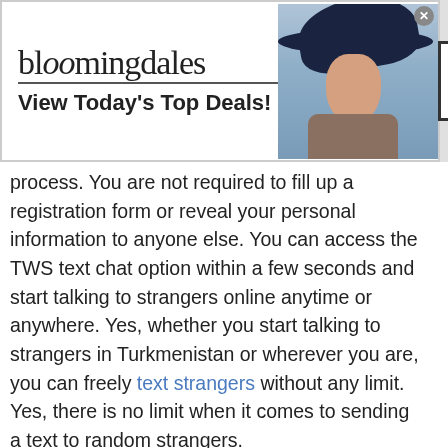[Figure (screenshot): Bloomingdales advertisement banner: logo text, 'View Today's Top Deals!', model with large hat, 'SHOP NOW >' button box]
process. You are not required to fill up a registration form or reveal your personal information to anyone else. You can access the TWS text chat option within a few seconds and start talking to strangers online anytime or anywhere. Yes, whether you start talking to strangers in Turkmenistan or wherever you are, you can freely text strangers without any limit. Yes, there is no limit when it comes to sending a text to random strangers.
[Figure (screenshot): Chewy.com advertisement: 'Pet Food, Products, Supplies at Low Prices - Pay the lowest prices on pet supplies at Chewy.com', with logo image and blue circle arrow button]